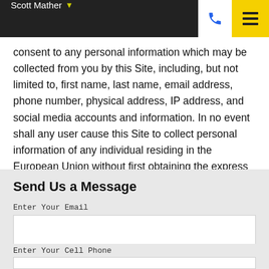Scott Mather
consent to any personal information which may be collected from you by this Site, including, but not limited to, first name, last name, email address, phone number, physical address, IP address, and social media accounts and information. In no event shall any user cause this Site to collect personal information of any individual residing in the European Union without first obtaining the express consent of such individual.
Send Us a Message
Enter Your Email
Enter Your Cell Phone